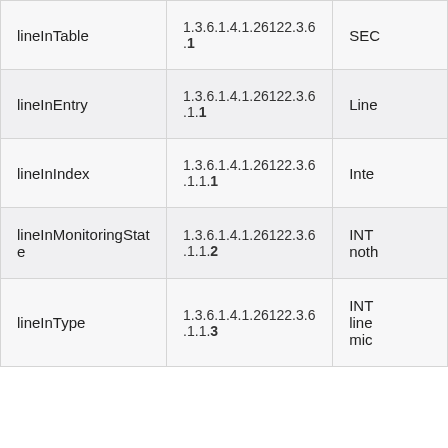| Name | OID | Description (truncated) |
| --- | --- | --- |
| lineInTable | 1.3.6.1.4.1.26122.3.6.1 | SEC... |
| lineInEntry | 1.3.6.1.4.1.26122.3.6.1.1 | Line... |
| lineInIndex | 1.3.6.1.4.1.26122.3.6.1.1.1 | Inte... |
| lineInMonitoringState | 1.3.6.1.4.1.26122.3.6.1.1.2 | INT... noth... |
| lineInType | 1.3.6.1.4.1.26122.3.6.1.1.3 | INT... line... mic... |